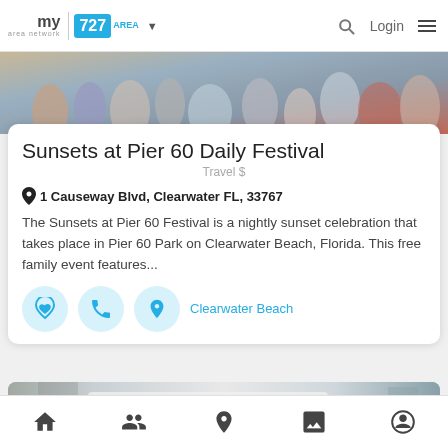my area network | 727 AREA | Login
[Figure (photo): Top portion of a crowd photo visible behind a card listing]
Sunsets at Pier 60 Daily Festival
Travel $
1 Causeway Blvd, Clearwater FL, 33767
The Sunsets at Pier 60 Festival is a nightly sunset celebration that takes place in Pier 60 Park on Clearwater Beach, Florida. This free family event features...
Clearwater Beach
[Figure (photo): Photo of a white utility truck on a road]
Home | People | Location | Photos | Profile